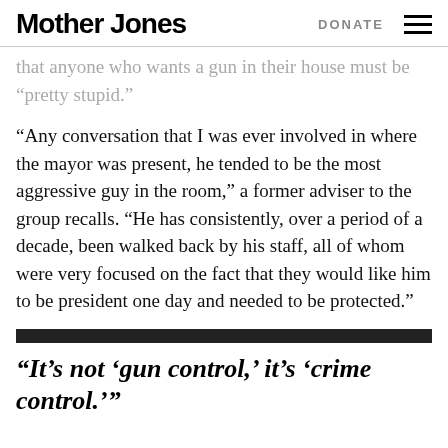Mother Jones | DONATE
that anyone who wants a gun in their house must be “pretty stupid.”
“Any conversation that I was ever involved in where the mayor was present, he tended to be the most aggressive guy in the room,” a former adviser to the group recalls. “He has consistently, over a period of a decade, been walked back by his staff, all of whom were very focused on the fact that they would like him to be president one day and needed to be protected.”
“It’s not ‘gun control,’ it’s ‘crime control.’”